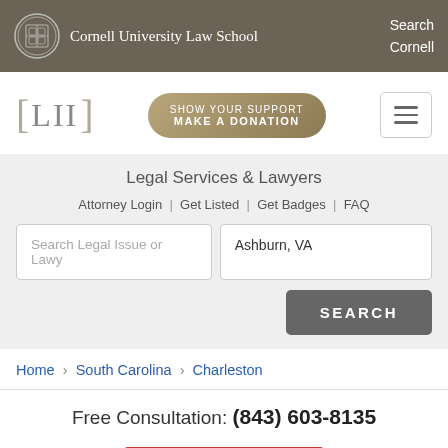Cornell University Law School | Search Cornell
[Figure (logo): LII Legal Information Institute logo with [LII] text]
[Figure (infographic): Show Your Support Make A Donation button]
Legal Services & Lawyers
Attorney Login | Get Listed | Get Badges | FAQ
Search Legal Issue or Lawy [input field] | Ashburn, VA [input field] | SEARCH [button]
Home › South Carolina › Charleston
Free Consultation: (843) 603-8135